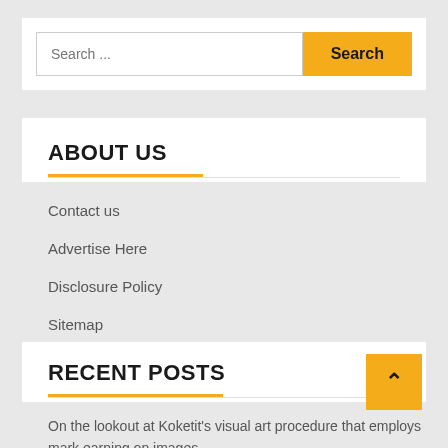Search ...
ABOUT US
Contact us
Advertise Here
Disclosure Policy
Sitemap
RECENT POSTS
On the lookout at Koketit's visual art procedure that employs mark earning on images